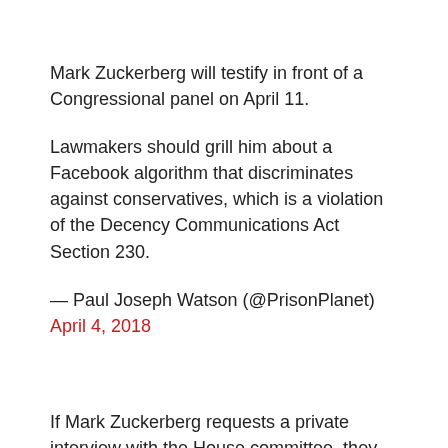Mark Zuckerberg will testify in front of a Congressional panel on April 11.
Lawmakers should grill him about a Facebook algorithm that discriminates against conservatives, which is a violation of the Decency Communications Act Section 230.
— Paul Joseph Watson (@PrisonPlanet) April 4, 2018
If Mark Zuckerberg requests a private interview with the House committee, they should agree.
But then they should actually make it public for everybody to watch without him knowing.